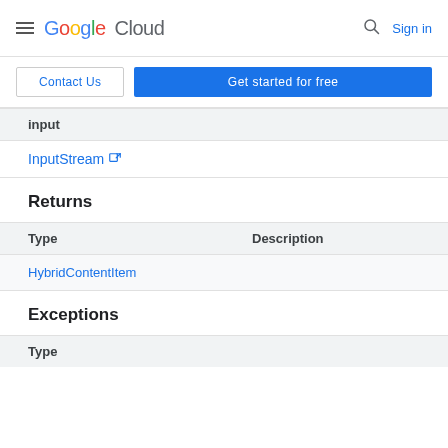Google Cloud  Sign in
Contact Us  Get started for free
| input |
| --- |
| InputStream ⧉ |
Returns
| Type | Description |
| --- | --- |
| HybridContentItem |  |
Exceptions
| Type |
| --- |